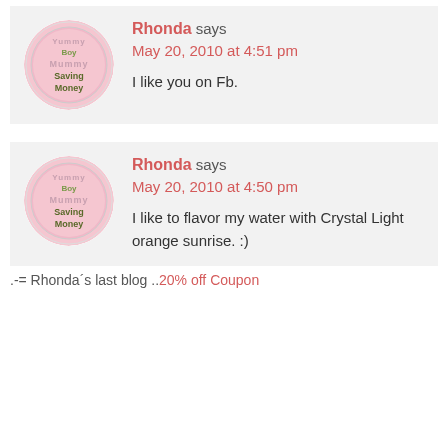Rhonda says May 20, 2010 at 4:51 pm I like you on Fb.
Rhonda says May 20, 2010 at 4:50 pm I like to flavor my water with Crystal Light orange sunrise. :)
.-= Rhonda's last blog ..20% off Coupon